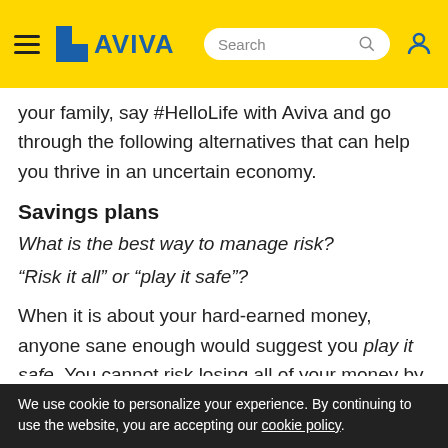AVIVA
your family, say #HelloLife with Aviva and go through the following alternatives that can help you thrive in an uncertain economy.
Savings plans
What is the best way to manage risk?
“Risk it all” or “play it safe”?
When it is about your hard-earned money, anyone sane enough would suggest you play it safe. You cannot risk losing all of your money by putting it solely... Aviva’s savings plans have been curated keeping uncertainties of your life in focus. Our Savings... life insurance policies that prepare you to face unforeseen
[Figure (other): Talk To Expert button overlay with blue arrow and light blue background]
We use cookie to personalize your experience. By continuing to use the website, you are accepting our cookie policy.